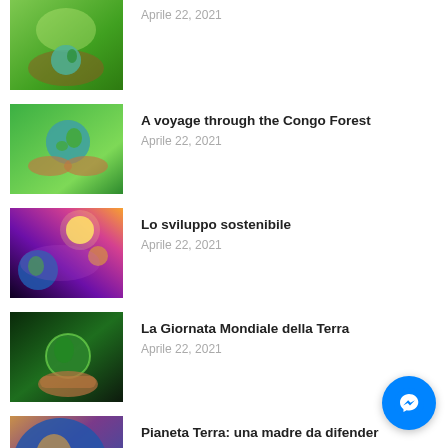[Figure (photo): Hands holding a small Earth globe with green background - article thumbnail]
Aprile 22, 2021
[Figure (photo): Hands holding a small Earth globe on grass background - article thumbnail]
A voyage through the Congo Forest
Aprile 22, 2021
[Figure (photo): Earth in space with colorful nebula and planet background - article thumbnail]
Lo sviluppo sostenibile
Aprile 22, 2021
[Figure (photo): Hand holding a glowing green Earth globe with forest background - article thumbnail]
La Giornata Mondiale della Terra
Aprile 22, 2021
[Figure (photo): Planet Earth from space with blue and brown tones - article thumbnail]
Pianeta Terra: una madre da difender
Aprile 22, 2021